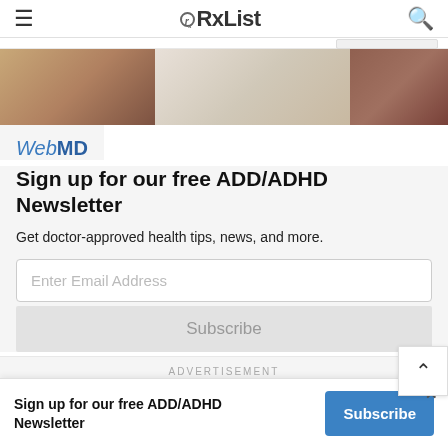RxList
[Figure (photo): Banner photo showing people, likely children and adults, in a classroom or group setting]
[Figure (logo): WebMD logo in blue italic and bold text]
Sign up for our free ADD/ADHD Newsletter
Get doctor-approved health tips, news, and more.
Enter Email Address
Subscribe
ADVERTISEMENT
Sign up for our free ADD/ADHD Newsletter
Subscribe